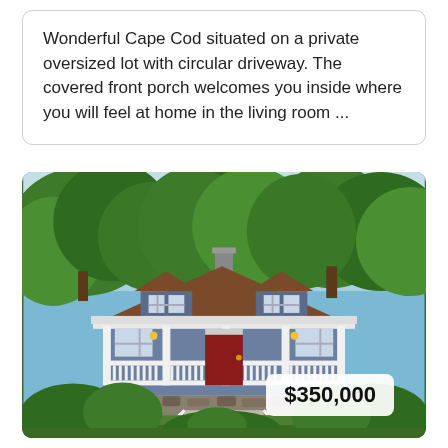Wonderful Cape Cod situated on a private oversized lot with circular driveway. The covered front porch welcomes you inside where you will feel at home in the living room ...
[Figure (photo): Exterior photo of a Cape Cod style house with blue siding, brown roof, white covered front porch with railing, red front door, stone foundation, steps leading up, surrounded by large green trees. A price badge reading $350,000 is overlaid in the bottom right corner.]